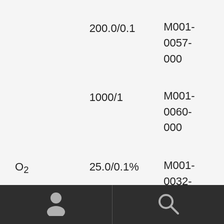200.0/0.1
M001-0057-000
1000/1
M001-0060-000
O₂
25.0/0.1%
M001-0032-000
30/0.1%
M001-